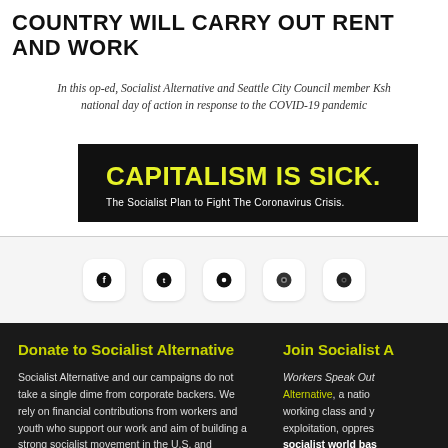COUNTRY WILL CARRY OUT RENT AND WORK…
In this op-ed, Socialist Alternative and Seattle City Council member Ksh… national day of action in response to the COVID-19 pandemic…
[Figure (other): Black banner image with yellow bold text 'CAPITALISM IS SICK.' and white subtitle 'The Socialist Plan to Fight The Coronavirus Crisis.']
[Figure (infographic): Row of five social media icon buttons (Facebook, Twitter, Pinterest/Reddit, Instagram, another) with rounded square white backgrounds on light grey bar]
Donate to Socialist Alternative
Socialist Alternative and our campaigns do not take a single dime from corporate backers. We rely on financial contributions from workers and youth who support our work and aim of building a strong socialist movement in the U.S. and beyond. Support our work today!
Join Socialist A…
Workers Speak Out… Alternative, a natio… working class and y… exploitation, oppres… socialist world bas… greed.
Donate Here
Join S…